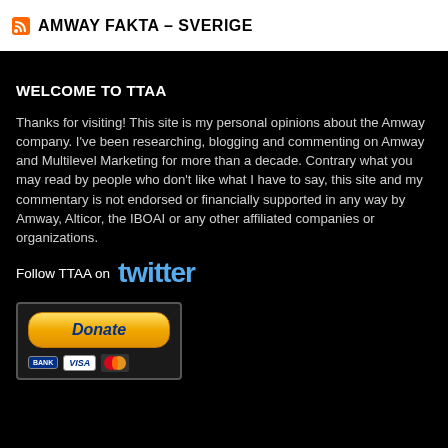AMWAY FAKTA – SVERIGE
WELCOME TO TTAA
Thanks for visiting! This site is my personal opinions about the Amway company. I've been researching, blogging and commenting on Amway and Multilevel Marketing for more than a decade. Contrary what you may read by people who don't like what I have to say, this site and my commentary is not endorsed or financially supported in any way by Amway, Alticor, the IBOAI or any other affiliated companies or organizations.
Follow TTAA on twitter
[Figure (other): PayPal Donate button with Bank, Visa, and MasterCard logos]